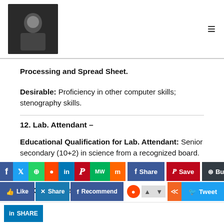[logo image] [hamburger menu]
Processing and Spread Sheet.
Desirable: Proficiency in other computer skills; stenography skills.
12. Lab. Attendant –
Educational Qualification for Lab. Attendant: Senior secondary (10+2) in science from a recognized board.
13. Office Attendant –